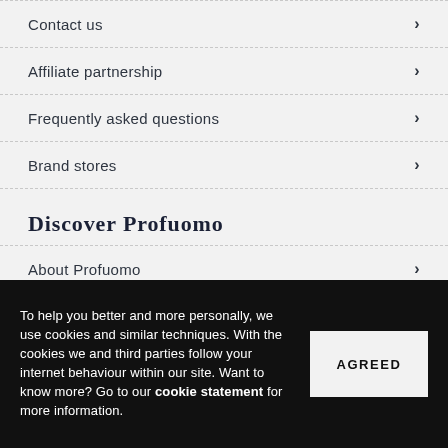Contact us
Affiliate partnership
Frequently asked questions
Brand stores
Discover Profuomo
About Profuomo
To help you better and more personally, we use cookies and similar techniques. With the cookies we and third parties follow your internet behaviour within our site. Want to know more? Go to our cookie statement for more information.
AGREED